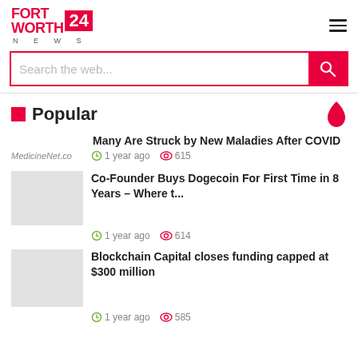FORT WORTH 24 NEWS
Search the web...
Popular
Many Are Struck by New Maladies After COVID
1 year ago  615
Co-Founder Buys Dogecoin For First Time in 8 Years – Where t...
1 year ago  614
Blockchain Capital closes funding capped at $300 million
1 year ago  585